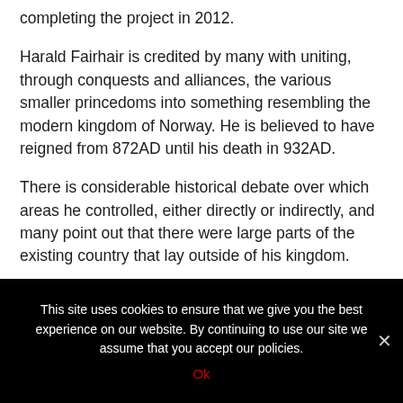completing the project in 2012.
Harald Fairhair is credited by many with uniting, through conquests and alliances, the various smaller princedoms into something resembling the modern kingdom of Norway. He is believed to have reigned from 872AD until his death in 932AD.
There is considerable historical debate over which areas he controlled, either directly or indirectly, and many point out that there were large parts of the existing country that lay outside of his kingdom.
This site uses cookies to ensure that we give you the best experience on our website. By continuing to use our site we assume that you accept our policies.
Ok